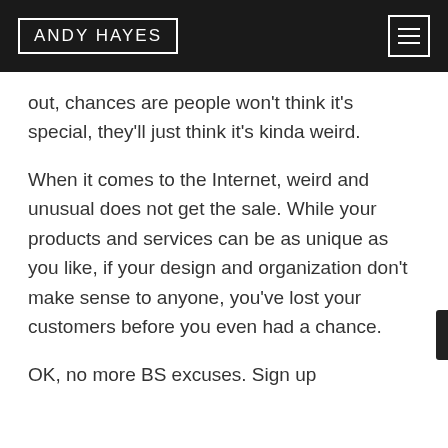ANDY HAYES
out, chances are people won't think it's special, they'll just think it's kinda weird.
When it comes to the Internet, weird and unusual does not get the sale. While your products and services can be as unique as you like, if your design and organization don't make sense to anyone, you've lost your customers before you even had a chance.
OK, no more BS excuses. Sign up